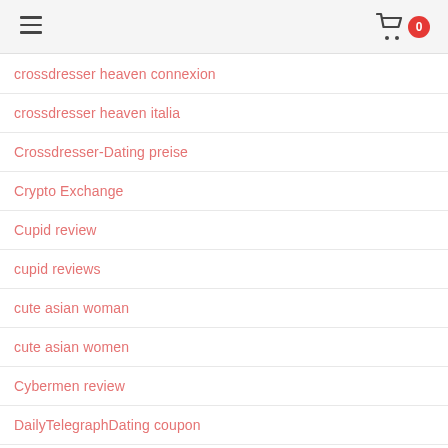Navigation menu header with hamburger icon and cart badge showing 0
crossdresser heaven connexion
crossdresser heaven italia
Crossdresser-Dating preise
Crypto Exchange
Cupid review
cupid reviews
cute asian woman
cute asian women
Cybermen review
DailyTelegraphDating coupon